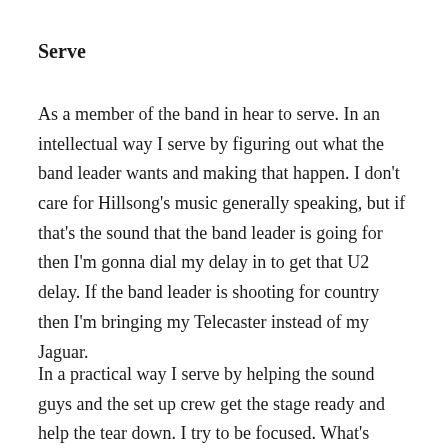Serve
As a member of the band in hear to serve. In an intellectual way I serve by figuring out what the band leader wants and making that happen. I don’t care for Hillsong’s music generally speaking, but if that’s the sound that the band leader is going for then I’m gonna dial my delay in to get that U2 delay. If the band leader is shooting for country then I’m bringing my Telecaster instead of my Jaguar.
In a practical way I serve by helping the sound guys and the set up crew get the stage ready and help the tear down. I try to be focused. What’s going on? Where are